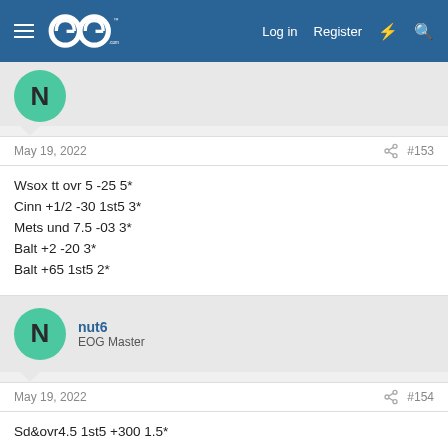GoG forum navigation bar with Log in, Register links
Wsox tt ovr 5 -25 5*
Cinn +1/2 -30 1st5 3*
Mets und 7.5 -03 3*
Balt +2 -20 3*
Balt +65 1st5 2*
May 19, 2022  #153
nut6
EOG Master
May 19, 2022  #154
Sd&ovr4.5 1st5 +300 1.5*
nut6
EOG Master